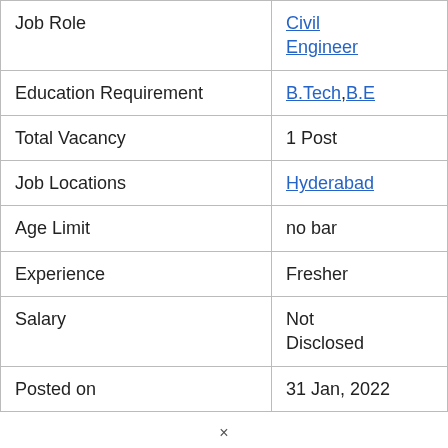| Field | Value |
| --- | --- |
| Job Role | Civil Engineer |
| Education Requirement | B.Tech,B.E |
| Total Vacancy | 1 Post |
| Job Locations | Hyderabad |
| Age Limit | no bar |
| Experience | Fresher |
| Salary | Not Disclosed |
| Posted on | 31 Jan, 2022 |